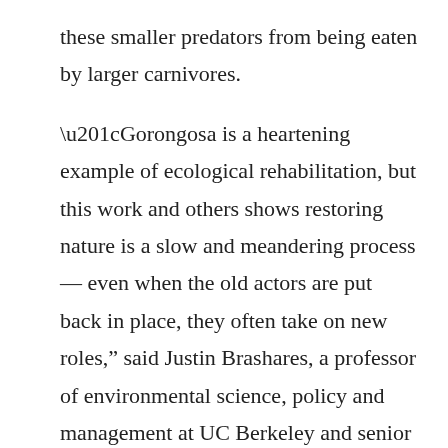these smaller predators from being eaten by larger carnivores.
“Gorongosa is a heartening example of ecological rehabilitation, but this work and others shows restoring nature is a slow and meandering process — even when the old actors are put back in place, they often take on new roles,” said Justin Brashares, a professor of environmental science, policy and management at UC Berkeley and senior author of the study.
At this point, it is unclear if the distribution of species in the park will one day return to its pre-war condition, or if it will one day reach a different steady state. Since the study was concluded, wild dogs and leopards have been